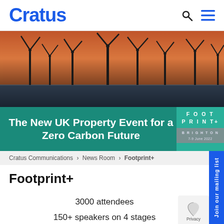Cratus
[Figure (photo): Offshore wind turbines silhouetted against an orange sunset sky over water]
The New UK Property Event for a Zero Carbon Future
Cratus Communications > News Room > Footprint+
Footprint+
3000 attendees
150+ speakers on 4 stages
100+ exhibitors